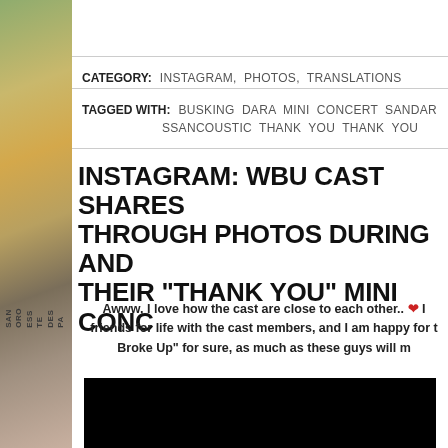[Figure (photo): Left sidebar with a decorative collage image featuring colorful overlapping elements and vertical text reading SAN ORO ESS TE DES PA]
CATEGORY: INSTAGRAM, PHOTOS, TRANSLATIONS
TAGGED WITH: BUSKING DARA MINI CONCERT SANDAR SSANCOUSTIC THANK YOU THANK YOU
INSTAGRAM: WBU CAST SHARES THROUGH PHOTOS DURING AND THEIR "THANK YOU" MINI CONC
Awww, I love how the cast are close to each other.. ❤ friends for life with the cast members, and I am happy for t Broke Up" for sure, as much as these guys will m
[Figure (photo): Black rectangular image area at the bottom of the page]